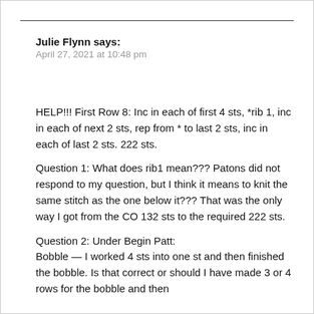Julie Flynn says:
April 27, 2021 at 10:48 pm
HELP!!! First Row 8: Inc in each of first 4 sts, *rib 1, inc in each of next 2 sts, rep from * to last 2 sts, inc in each of last 2 sts. 222 sts.
Question 1: What does rib1 mean??? Patons did not respond to my question, but I think it means to knit the same stitch as the one below it??? That was the only way I got from the CO 132 sts to the required 222 sts.
Question 2: Under Begin Patt:
Bobble — I worked 4 sts into one st and then finished the bobble. Is that correct or should I have made 3 or 4 rows for the bobble and then